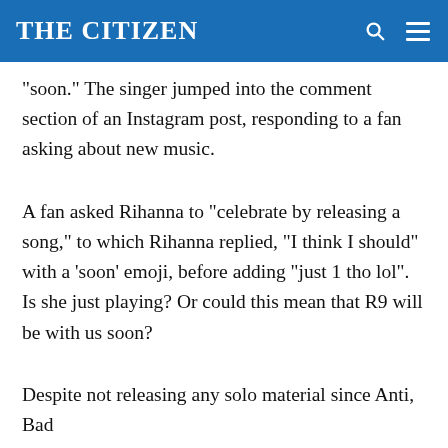THE CITIZEN
“soon.” The singer jumped into the comment section of an Instagram post, responding to a fan asking about new music.
A fan asked Rihanna to “celebrate by releasing a song,” to which Rihanna replied, “I think I should” with a ‘soon’ emoji, before adding “just 1 tho lol”. Is she just playing? Or could this mean that R9 will be with us soon?
Despite not releasing any solo material since Anti, Bad